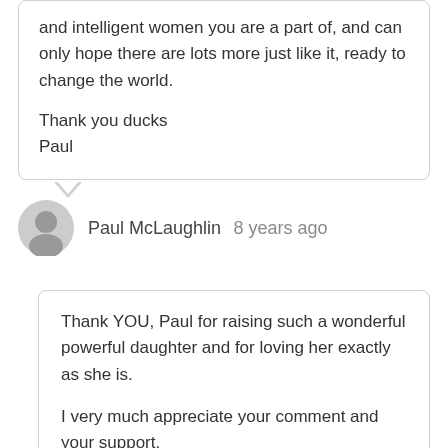and intelligent women you are a part of, and can only hope there are lots more just like it, ready to change the world.

Thank you ducks
Paul
Paul McLaughlin  8 years ago
Thank YOU, Paul for raising such a wonderful powerful daughter and for loving her exactly as she is.

I very much appreciate your comment and your support.